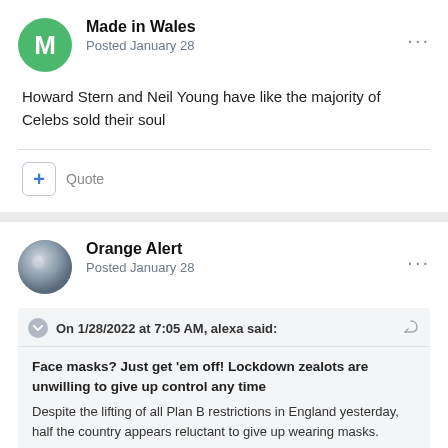Made in Wales
Posted January 28
Howard Stern and Neil Young have like the majority of Celebs sold their soul
+ Quote
Orange Alert
Posted January 28
On 1/28/2022 at 7:05 AM, alexa said:
Face masks? Just get 'em off! Lockdown zealots are unwilling to give up control any time
Despite the lifting of all Plan B restrictions in England yesterday, half the country appears reluctant to give up wearing masks.